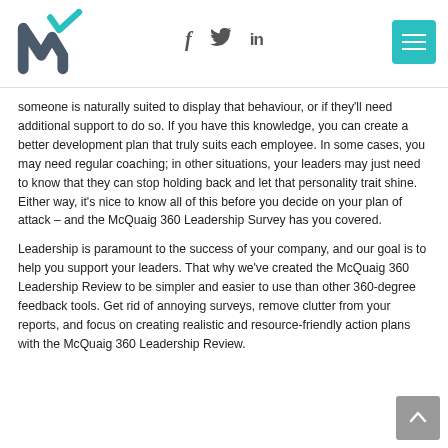[Figure (logo): McQuaig logo — stylized M with teal checkmark]
[Figure (infographic): Social media icons: Facebook (f), Twitter (bird), LinkedIn (in)]
[Figure (other): Teal hamburger menu button]
someone is naturally suited to display that behaviour, or if they'll need additional support to do so. If you have this knowledge, you can create a better development plan that truly suits each employee. In some cases, you may need regular coaching; in other situations, your leaders may just need to know that they can stop holding back and let that personality trait shine. Either way, it's nice to know all of this before you decide on your plan of attack – and the McQuaig 360 Leadership Survey has you covered.
Leadership is paramount to the success of your company, and our goal is to help you support your leaders. That why we've created the McQuaig 360 Leadership Review to be simpler and easier to use than other 360-degree feedback tools. Get rid of annoying surveys, remove clutter from your reports, and focus on creating realistic and resource-friendly action plans with the McQuaig 360 Leadership Review.